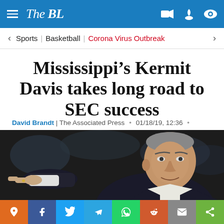The BL
Sports | Basketball | Corona Virus Outbreak
Mississippi’s Kermit Davis takes long road to SEC success
David Brandt | The Associated Press • 01/18/19, 12:36 •
[Figure (photo): Basketball coach pointing, wearing dark suit with white shirt cuffs, photographed against dark blurred background]
[Figure (infographic): Social sharing bar with icons: pin (orange), Facebook (blue), Twitter (light blue), Telegram (light blue), WhatsApp (green), Reddit (orange-red), email (grey), share (green)]